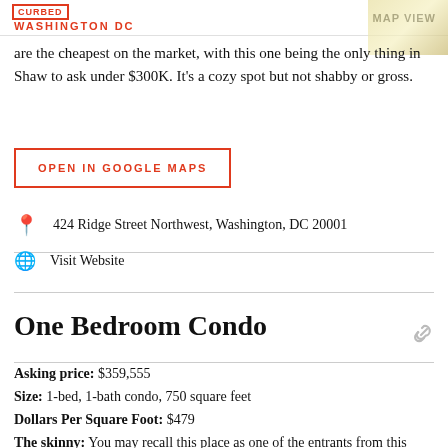CURBED WASHINGTON DC | MAP VIEW
are the cheapest on the market, with this one being the only thing in Shaw to ask under $300K. It's a cozy spot but not shabby or gross.
OPEN IN GOOGLE MAPS
424 Ridge Street Northwest, Washington, DC 20001
Visit Website
One Bedroom Condo
Asking price: $359,555
Size: 1-bed, 1-bath condo, 750 square feet
Dollars Per Square Foot: $479
The skinny: You may recall this place as one of the entrants from this week's Real Estate Death Match. Vote in that, won't you?